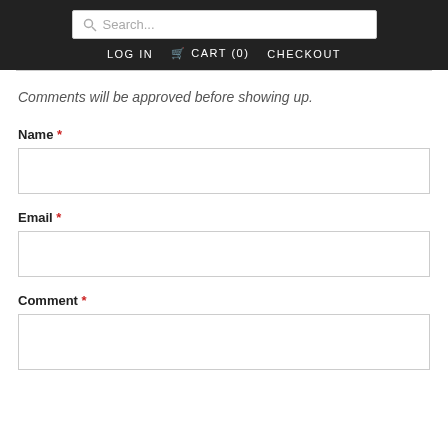Search... | LOG IN | CART (0) | CHECKOUT
Comments will be approved before showing up.
Name *
Email *
Comment *